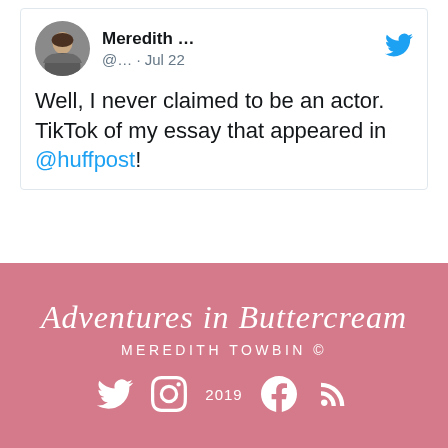[Figure (screenshot): Tweet screenshot from Meredith showing profile picture, handle @... · Jul 22, Twitter bird icon, and tweet text: Well, I never claimed to be an actor. TikTok of my essay that appeared in @huffpost!]
Adventures in Buttercream
MEREDITH TOWBIN ©
[Figure (other): Social media icons: Twitter bird, Instagram, Facebook, RSS feed, with year 2019 overlaid]